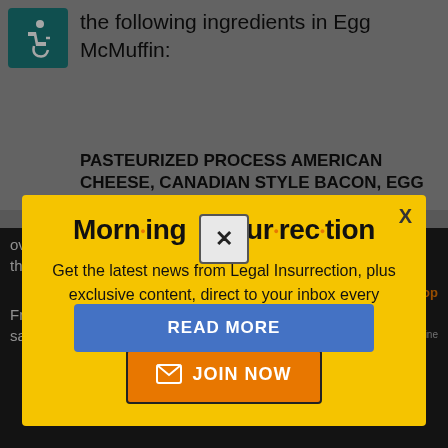[Figure (screenshot): Accessibility icon (wheelchair user) in teal square]
the following ingredients in Egg McMuffin:
PASTEURIZED PROCESS AMERICAN CHEESE, CANADIAN STYLE BACON, EGG
[Figure (screenshot): Modal popup with yellow background titled 'Morning Insurrection' newsletter signup. Contains text: 'Get the latest news from Legal Insurrection, plus exclusive content, direct to your inbox every morning. Subscribe today – it's free!' with a JOIN NOW button and X close button.]
overcome by far much cheese in order to mask the difference.
Fres... long way toward making the egg sandwich taste
[Figure (screenshot): X close button and READ MORE blue button]